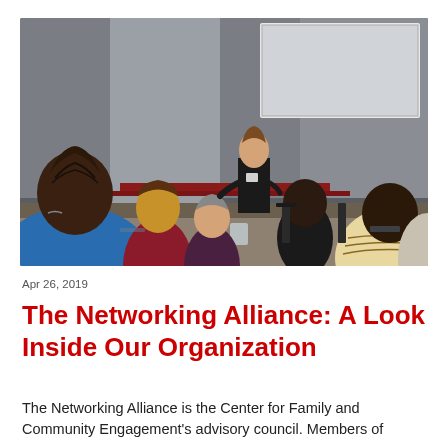[Figure (photo): A woman standing at the front of a conference room presenting to a group of seated attendees. A projection screen is visible in the background. The audience faces away from the camera. The room has a modern interior with gray walls.]
Apr 26, 2019
The Networking Alliance: A Look Inside Our Organization
The Networking Alliance is the Center for Family and Community Engagement's advisory council. Members of